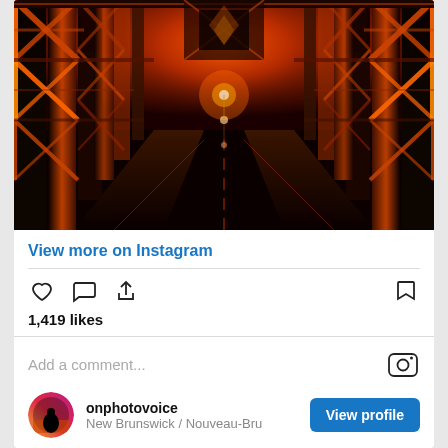[Figure (photo): Night photo of a bridge interior looking down the road, with orange and red illuminated steel truss structure on both sides, dark road with lane markings, dramatic perspective shot]
View more on Instagram
1,419 likes
Add a comment...
onphotovoice
New Brunswick / Nouveau-Bru
View profile